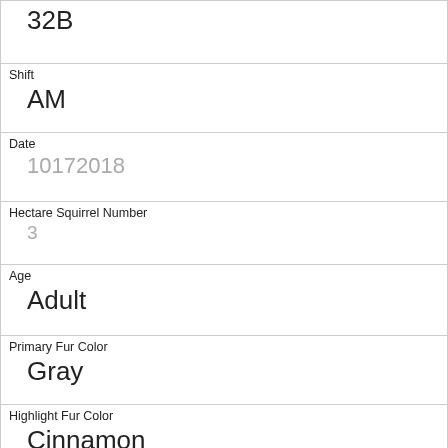| 32B |
| Shift | AM |
| Date | 10172018 |
| Hectare Squirrel Number | 3 |
| Age | Adult |
| Primary Fur Color | Gray |
| Highlight Fur Color | Cinnamon |
| Combination of Primary and Highlight Color | Gray+Cinnamon |
| Color notes |  |
| Location | Ground Plane |
| Above Ground Sighter Measurement |  |